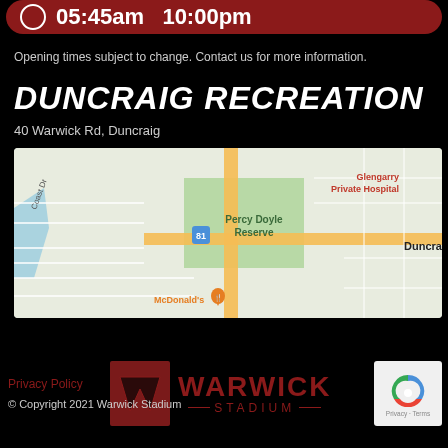05:45am  10:00pm
Opening times subject to change. Contact us for more information.
DUNCRAIG RECREATION
40 Warwick Rd, Duncraig
[Figure (map): Google Maps view showing Duncraig area with Percy Doyle Reserve, Glengarry Private Hospital, McDonald's marker, and road network]
Privacy Policy
[Figure (logo): Warwick Stadium logo with dark red W icon and WARWICK STADIUM text]
© Copyright 2021 Warwick Stadium